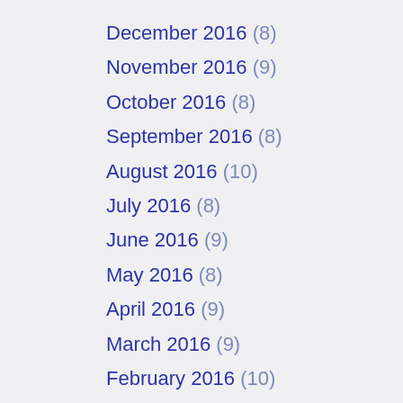December 2016 (8)
November 2016 (9)
October 2016 (8)
September 2016 (8)
August 2016 (10)
July 2016 (8)
June 2016 (9)
May 2016 (8)
April 2016 (9)
March 2016 (9)
February 2016 (10)
January 2016 (7)